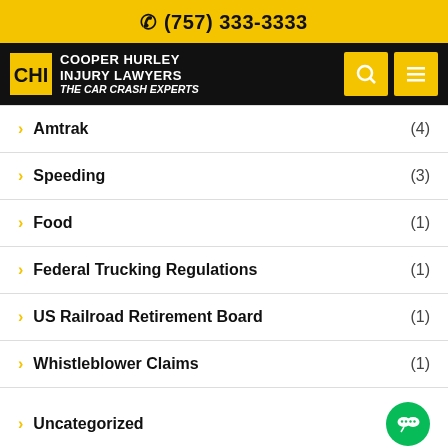☎ (757) 333-3333
[Figure (logo): Cooper Hurley Injury Lawyers — The Car Crash Experts logo with navigation icons]
Amtrak (4)
Speeding (3)
Food (1)
Federal Trucking Regulations (1)
US Railroad Retirement Board (1)
Whistleblower Claims (1)
Uncategorized
Product Liability (72)